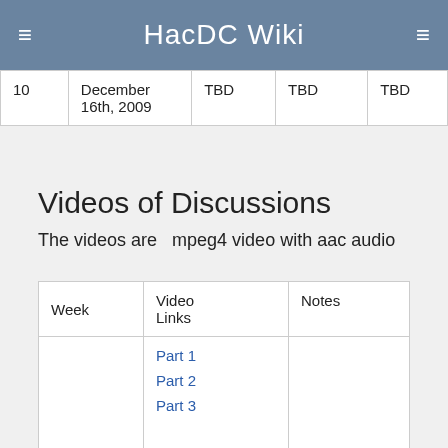HacDC Wiki
| 10 | December 16th, 2009 | TBD | TBD | TBD |
Videos of Discussions
The videos are  mpeg4 video with aac audio
| Week | Video Links | Notes |
| --- | --- | --- |
|  | Part 1
Part 2
Part 3 |  |